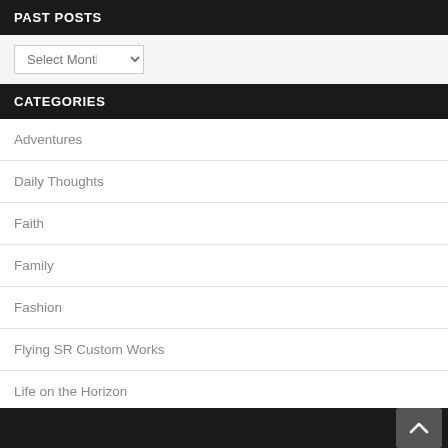PAST POSTS
Select Month
CATEGORIES
Adventures
Daily Thoughts
Faith
Family
Fashion
Flying SR Custom Works
Life on the Horizon
Lost on the Horizon Photography
Out of the Darkness